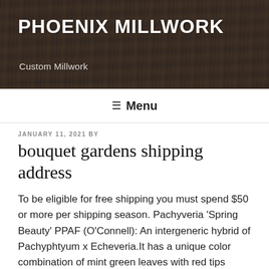PHOENIX MILLWORK
Custom Millwork
≡ Menu
JANUARY 11, 2021 BY
bouquet gardens shipping address
To be eligible for free shipping you must spend $50 or more per shipping season. Pachyveria 'Spring Beauty' PPAF (O'Connell): An intergeneric hybrid of Pachyphtyum x Echeveria.It has a unique color combination of mint green leaves with red tips when grown in bright sunlight. For example: If you purchase $50 of spring product, you will receive free shipping. Please review the photos with the Benjamin The real color of the item may be slightly